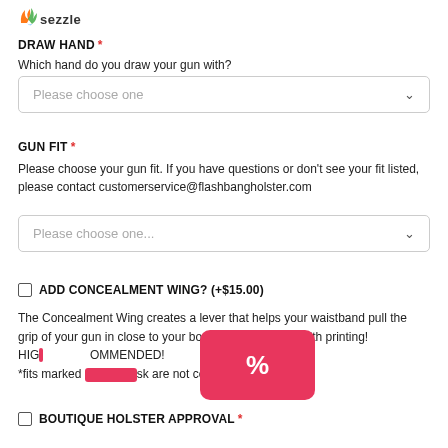[Figure (logo): Sezzle logo with colorful flame/lightning icon and 'sezzle' wordmark]
DRAW HAND *
Which hand do you draw your gun with?
Please choose one
GUN FIT *
Please choose your gun fit. If you have questions or don't see your fit listed, please contact customerservice@flashbangholster.com
Please choose one...
ADD CONCEALMENT WING? (+$15.00)
The Concealment Wing creates a lever that helps your waistband pull the grip of your gun in close to your body. It helps a TON with printing! HIGHLY RECOMMENDED!
*fits marked with an asterisk are not compatible with Wing
BOUTIQUE HOLSTER APPROVAL *